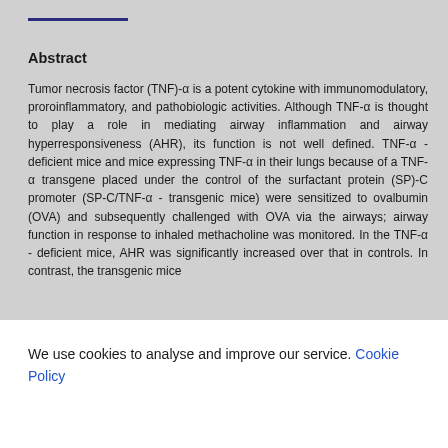Abstract
Tumor necrosis factor (TNF)-α is a potent cytokine with immunomodulatory, proroinflammatory, and pathobiologic activities. Although TNF-α is thought to play a role in mediating airway inflammation and airway hyperresponsiveness (AHR), its function is not well defined. TNF-α - deficient mice and mice expressing TNF-α in their lungs because of a TNF-α transgene placed under the control of the surfactant protein (SP)-C promoter (SP-C/TNF-α - transgenic mice) were sensitized to ovalbumin (OVA) and subsequently challenged with OVA via the airways; airway function in response to inhaled methacholine was monitored. In the TNF-α - deficient mice, AHR was significantly increased over that in controls. In contrast, the transgenic mice
We use cookies to analyse and improve our service. Cookie Policy